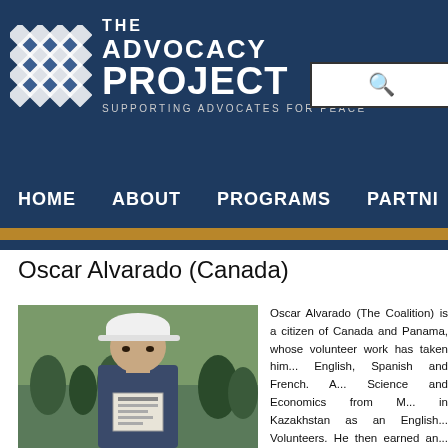[Figure (logo): The Advocacy Project logo with woven pattern and text: THE ADVOCACY PROJECT, SUPPORTING ADVOCATES FOR PEACE]
[Figure (screenshot): Search box with magnifying glass icon]
HOME   ABOUT   PROGRAMS   PARTNI
Oscar Alvarado (Canada)
[Figure (photo): Photo of Oscar Alvarado wearing a white baseball cap, holding a sign, outdoors with crowd in background]
Oscar Alvarado (The Coalition) is a citizen of Canada and Panama, whose volunteer work has taken him... English, Spanish and French. A... Science and Economics from M... in Kazakhstan as an English... Volunteers. He then earned an... the UN University for Peace... fellowship, Oscar also intern...